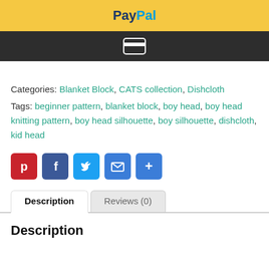[Figure (screenshot): PayPal payment button with yellow background and PayPal logo in blue and dark blue text]
[Figure (screenshot): Credit card payment button with dark gray background and card icon in white]
Categories: Blanket Block, CATS collection, Dishcloth
Tags: beginner pattern, blanket block, boy head, boy head knitting pattern, boy head silhouette, boy silhouette, dishcloth, kid head
[Figure (infographic): Social sharing icons: Pinterest (red), Facebook (dark blue), Twitter (light blue), Email (blue), More (blue)]
Description
Reviews (0)
Description